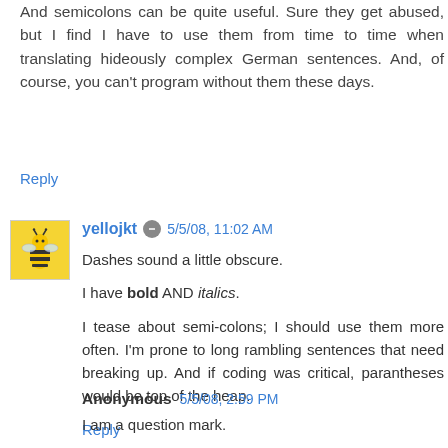And semicolons can be quite useful. Sure they get abused, but I find I have to use them from time to time when translating hideously complex German sentences. And, of course, you can't program without them these days.
Reply
yellojkt 5/5/08, 11:02 AM
Dashes sound a little obscure.

I have bold AND italics.

I tease about semi-colons; I should use them more often. I'm prone to long rambling sentences that need breaking up. And if coding was critical, parantheses would be top of the heap.
Reply
Anonymous 5/5/08, 2:59 PM
I am a question mark.